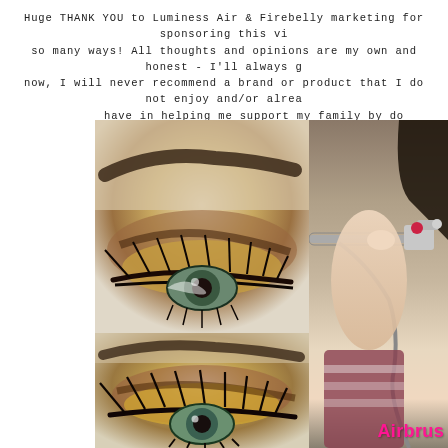Huge THANK YOU to Luminess Air & Firebelly marketing for sponsoring this vi so many ways! All thoughts and opinions are my own and honest - I'll always g now, I will never recommend a brand or product that I do not enjoy and/or alrea have in helping me support my family by do
[Figure (photo): Close-up photo collage: top-left shows a green eye with gold and brown smoky eye makeup and dark lashes; bottom-left shows a similar eye with gold shimmery shadow and long lashes; right panel shows a hand holding an airbrush tool with a pink nozzle against a brown background, with 'Airbrush' text in pink at bottom right.]